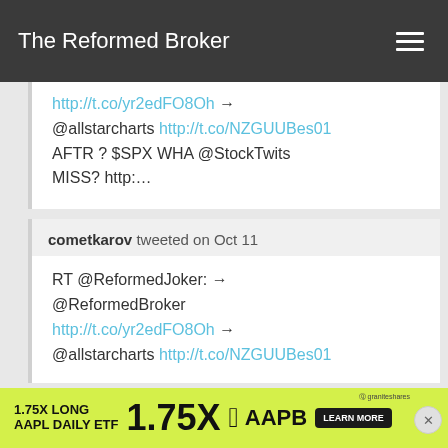The Reformed Broker
http://t.co/yr2edFO8Oh → @allstarcharts http://t.co/NZGUUBes01 AFTR ? $SPX WHA @StockTwits MISS? http:…
cometkarov tweeted on Oct 11
RT @ReformedJoker: → @ReformedBroker http://t.co/yr2edFO8Oh → @allstarcharts http://t.co/NZGUUBes01
[Figure (infographic): Advertisement banner: 1.75X LONG AAPL DAILY ETF 1.75X Apple logo AAPB LEARN MORE button with graniteshares branding on yellow-green background]